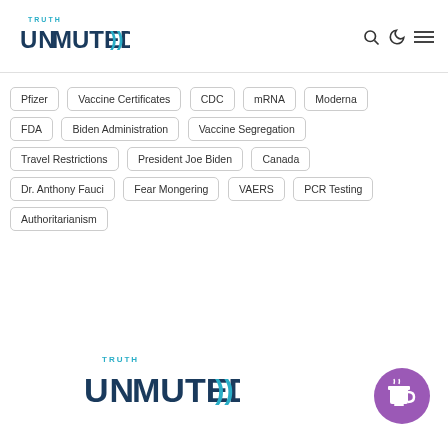[Figure (logo): Truth Unmuted logo with sound wave icon, top left header]
Pfizer
Vaccine Certificates
CDC
mRNA
Moderna
FDA
Biden Administration
Vaccine Segregation
Travel Restrictions
President Joe Biden
Canada
Dr. Anthony Fauci
Fear Mongering
VAERS
PCR Testing
Authoritarianism
[Figure (logo): Truth Unmuted logo, larger, footer center]
[Figure (illustration): Purple circular coffee/buy-me-a-coffee button, bottom right]